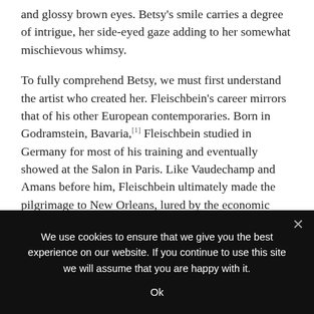and glossy brown eyes. Betsy's smile carries a degree of intrigue, her side-eyed gaze adding to her somewhat mischievous whimsy.
To fully comprehend Betsy, we must first understand the artist who created her. Fleischbein's career mirrors that of his other European contemporaries. Born in Godramstein, Bavaria,[1] Fleischbein studied in Germany for most of his training and eventually showed at the Salon in Paris. Like Vaudechamp and Amans before him, Fleischbein ultimately made the pilgrimage to New Orleans, lured by the economic success of his portrait-painting predecessors.[2] Upon his arrival in the United States, perhaps in an effort to compete with his French peers, Fleischbein gallicized his name—
We use cookies to ensure that we give you the best experience on our website. If you continue to use this site we will assume that you are happy with it.
Ok